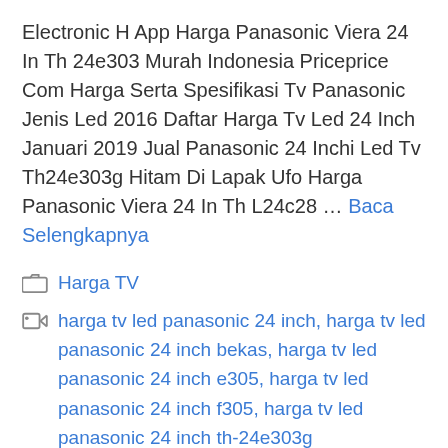Electronic H App Harga Panasonic Viera 24 In Th 24e303 Murah Indonesia Priceprice Com Harga Serta Spesifikasi Tv Panasonic Jenis Led 2016 Daftar Harga Tv Led 24 Inch Januari 2019 Jual Panasonic 24 Inchi Led Tv Th24e303g Hitam Di Lapak Ufo Harga Panasonic Viera 24 In Th L24c28 … Baca Selengkapnya
Harga TV
harga tv led panasonic 24 inch, harga tv led panasonic 24 inch bekas, harga tv led panasonic 24 inch e305, harga tv led panasonic 24 inch f305, harga tv led panasonic 24 inch th-24e303g
Tinggalkan komentar